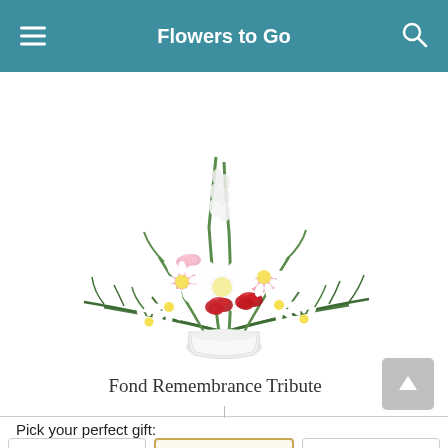Flowers to Go
[Figure (photo): Floral arrangement: Fond Remembrance Tribute — a wide basket/vase of white daisies, pink and red carnations, white chrysanthemums, white snapdragons/stock, and green fern foliage in a white container.]
Fond Remembrance Tribute
Pick your perfect gift: